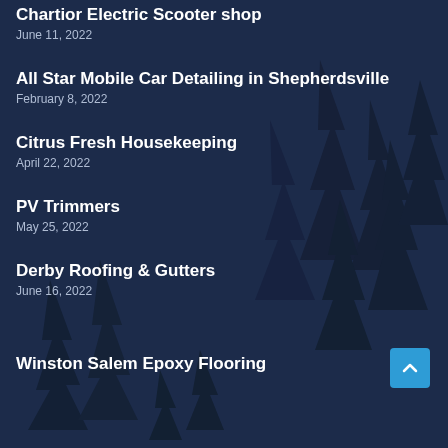Chartior Electric Scooter shop
June 11, 2022
All Star Mobile Car Detailing in Shepherdsville
February 8, 2022
Citrus Fresh Housekeeping
April 22, 2022
PV Trimmers
May 25, 2022
Derby Roofing & Gutters
June 16, 2022
Winston Salem Epoxy Flooring